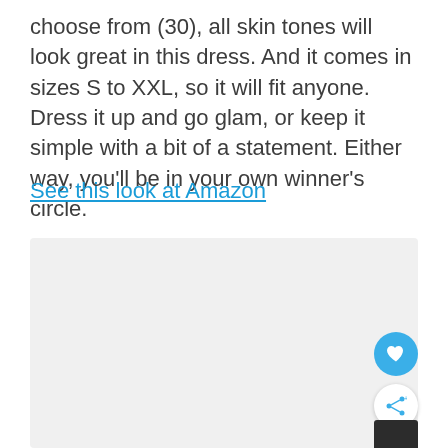choose from (30), all skin tones will look great in this dress. And it comes in sizes S to XXL, so it will fit anyone. Dress it up and go glam, or keep it simple with a bit of a statement. Either way, you'll be in your own winner's circle.
See this look at Amazon
[Figure (photo): Large light gray placeholder image area for a dress product photo, with a heart button and share button overlaid at the bottom right, and a dark dress corner visible at the bottom right.]